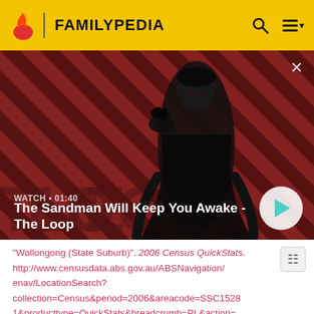FAMILYPEDIA
[Figure (screenshot): Video thumbnail showing a dark-clad figure with a crow on shoulder against a red and black diagonal striped background. Text overlay: WATCH • 01:40 / The Sandman Will Keep You Awake - The Loop. Play button shown.]
"Wollongong (State Suburb)". 2006 Census QuickStats. http://www.censusdata.abs.gov.au/ABSNavigation/enav/LocationSearch?collection=Census&period=2006&areacode=SSC15281&producttype=QuickStats&breadcrumb=PL&action=